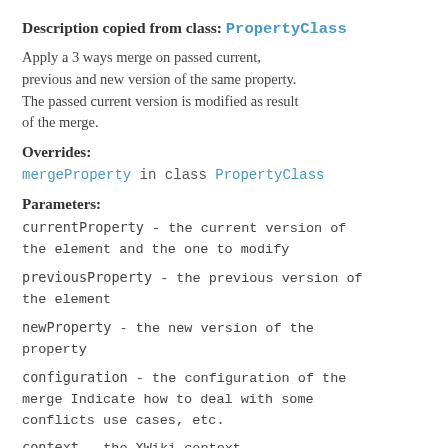Description copied from class: PropertyClass
Apply a 3 ways merge on passed current, previous and new version of the same property. The passed current version is modified as result of the merge.
Overrides:
mergeProperty in class PropertyClass
Parameters:
currentProperty - the current version of the element and the one to modify
previousProperty - the previous version of the element
newProperty - the new version of the property
configuration - the configuration of the merge Indicate how to deal with some conflicts use cases, etc.
context - the XWiki context
mergeResult - the merge report